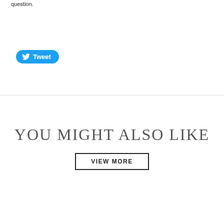question.
[Figure (other): Tweet button with Twitter bird icon and text 'Tweet' on a blue rounded rectangle button]
YOU MIGHT ALSO LIKE
VIEW MORE